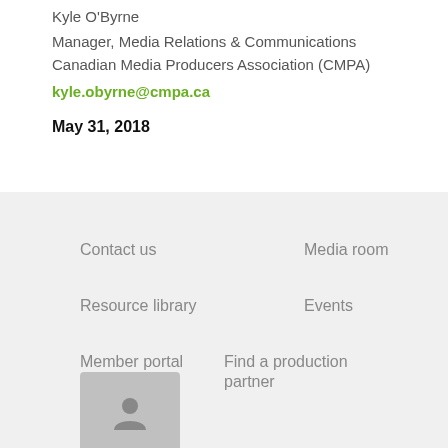Kyle O'Byrne
Manager, Media Relations & Communications
Canadian Media Producers Association (CMPA)
kyle.obyrne@cmpa.ca
May 31, 2018
Contact us
Media room
Resource library
Events
Member portal
Find a production partner